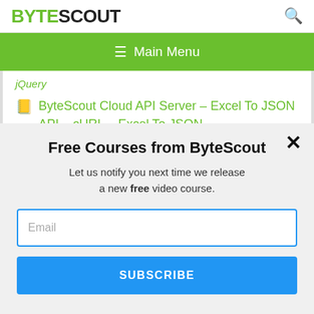[Figure (logo): ByteScout logo with BYTE in green and SCOUT in black, bold text]
≡  Main Menu
jQuery
ByteScout Cloud API Server – Excel To JSON API – cURL – Excel To JSON
This website uses cookies. Cookies are used to personalize content, analyze traffic, provide social media features, display ads. We also share
Free Courses from ByteScout
Let us notify you next time we release a new free video course.
Email
SUBSCRIBE